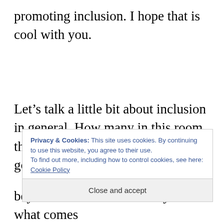promoting inclusion. I hope that is cool with you.
Let’s talk a little bit about inclusion in general. How many in this room thinks that inclusion in general is a good and positive t... h... w... t...
Privacy & Cookies: This site uses cookies. By continuing to use this website, you agree to their use. To find out more, including how to control cookies, see here: Cookie Policy
Close and accept
beyond that fact and actually see at what comes